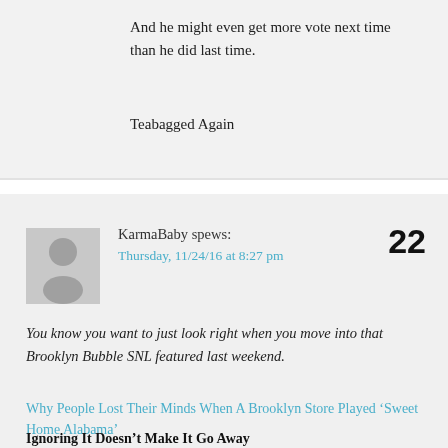And he might even get more vote next time than he did last time.
Teabagged Again
KarmaBaby spews:
Thursday, 11/24/16 at 8:27 pm
22
You know you want to just look right when you move into that Brooklyn Bubble SNL featured last weekend.
Why People Lost Their Minds When A Brooklyn Store Played ‘Sweet Home Alabama’
Ignoring It Doesn’t Make It Go Away